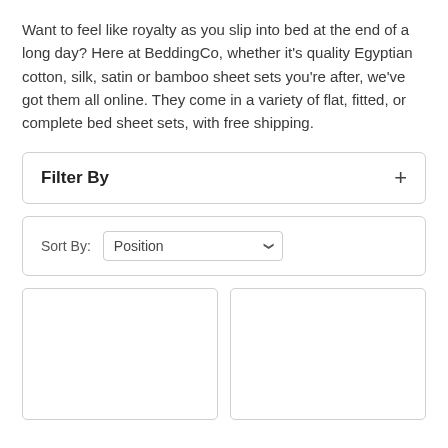Want to feel like royalty as you slip into bed at the end of a long day? Here at BeddingCo, whether it's quality Egyptian cotton, silk, satin or bamboo sheet sets you're after, we've got them all online. They come in a variety of flat, fitted, or complete bed sheet sets, with free shipping.
Filter By
Sort By: Position
[Figure (other): Two empty product card placeholders side by side]